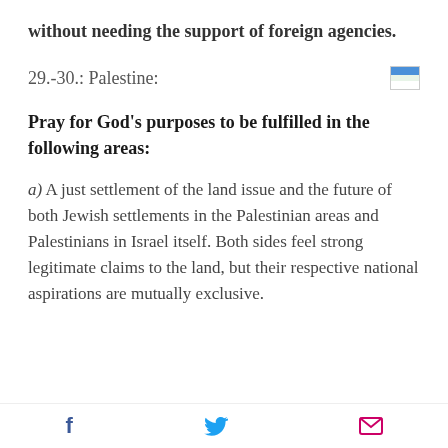without needing the support of foreign agencies.
29.-30.: Palestine:
Pray for God's purposes to be fulfilled in the following areas:
a) A just settlement of the land issue and the future of both Jewish settlements in the Palestinian areas and Palestinians in Israel itself. Both sides feel strong legitimate claims to the land, but their respective national aspirations are mutually exclusive.
Facebook Twitter Email